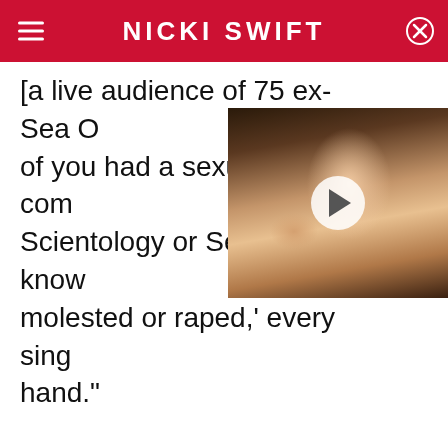NICKI SWIFT
[a live audience of 75 ex-Sea Org members] how many of you had a sexual crime committed against you in Scientology or SeaOrg or know someone who was molested or raped,' every single person raised their hand."
[Figure (photo): Video thumbnail showing a smiling woman with dark hair, with a play button overlay]